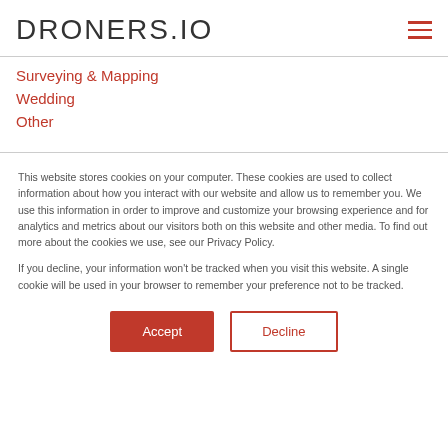DRONERS.IO
Surveying & Mapping
Wedding
Other
This website stores cookies on your computer. These cookies are used to collect information about how you interact with our website and allow us to remember you. We use this information in order to improve and customize your browsing experience and for analytics and metrics about our visitors both on this website and other media. To find out more about the cookies we use, see our Privacy Policy.
If you decline, your information won't be tracked when you visit this website. A single cookie will be used in your browser to remember your preference not to be tracked.
Accept | Decline